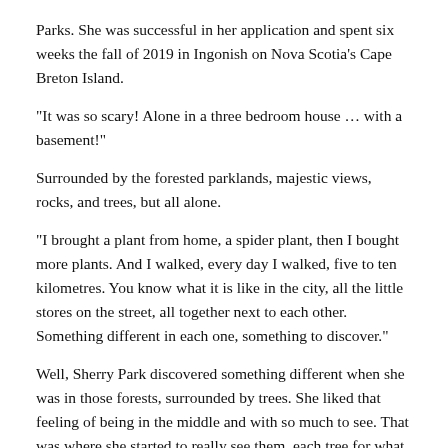Parks.  She was successful in her application and spent six weeks the fall of 2019 in Ingonish on Nova Scotia's Cape Breton Island.
"It was so scary!  Alone in a three bedroom house … with a basement!"
Surrounded by the forested parklands, majestic views, rocks, and trees, but all alone.
"I brought a plant from home, a spider plant, then I bought more plants. And I walked, every day I walked, five to ten kilometres.  You know what it is like in the city, all the little stores on the street, all together next to each other. Something different in each one, something to discover."
Well, Sherry Park discovered something different when she was in those forests, surrounded by trees.  She liked that feeling of being in the middle and with so much to see.  That was where she started to really see them, each tree for what it was, and how it nestled into the ground, was hit by shafts of light, and yet still was part of that greater whole, the forest. Therefore, every day she sketched and often